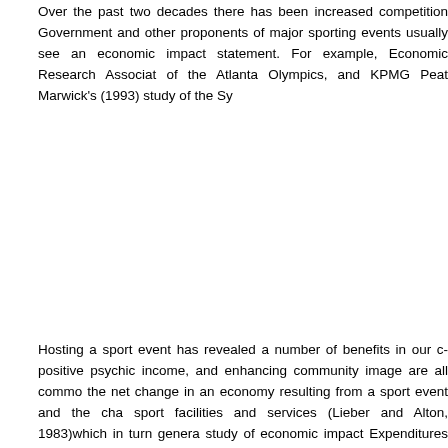Over the past two decades there has been increased competition. Government and other proponents of major sporting events usually see an economic impact statement. For example, Economic Research Associates study of the Atlanta Olympics, and KPMG Peat Marwick's (1993) study of the Sy...
Hosting a sport event has revealed a number of benefits in our community. positive psychic income, and enhancing community image are all commonly cited. the net change in an economy resulting from a sport event and the changes in sport facilities and services (Lieber and Alton, 1983)which in turn generates study of economic impact Expenditures can be categorized as direct, indirect meet the increased demand of visitors for goods and services. Indirec...